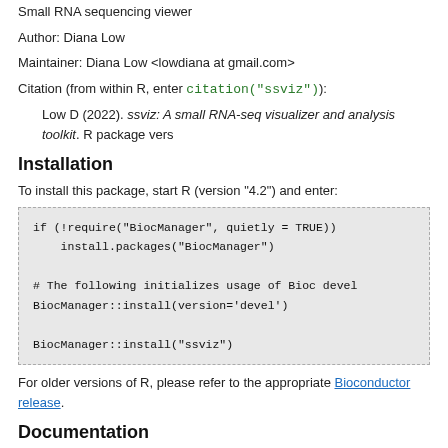Small RNA sequencing viewer
Author: Diana Low
Maintainer: Diana Low <lowdiana at gmail.com>
Citation (from within R, enter citation("ssviz")):
Low D (2022). ssviz: A small RNA-seq visualizer and analysis toolkit. R package vers
Installation
To install this package, start R (version "4.2") and enter:
if (!require("BiocManager", quietly = TRUE))
    install.packages("BiocManager")

# The following initializes usage of Bioc devel
BiocManager::install(version='devel')

BiocManager::install("ssviz")
For older versions of R, please refer to the appropriate Bioconductor release.
Documentation
To view documentation for the version of this package installed in your system, start R
browseVignettes("ssviz")